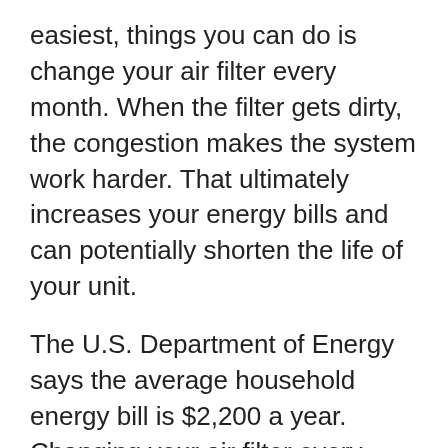easiest, things you can do is change your air filter every month. When the filter gets dirty, the congestion makes the system work harder. That ultimately increases your energy bills and can potentially shorten the life of your unit.
The U.S. Department of Energy says the average household energy bill is $2,200 a year. Changing your air filter every month or so can save from 5 to 15 percent.
And it's not just about money. If anyone in your family suffers from allergies or asthma, dirty air filters can worsen the air quality and exacerbate the symptoms. Replacing your filter removes much of the dust and pollen particles